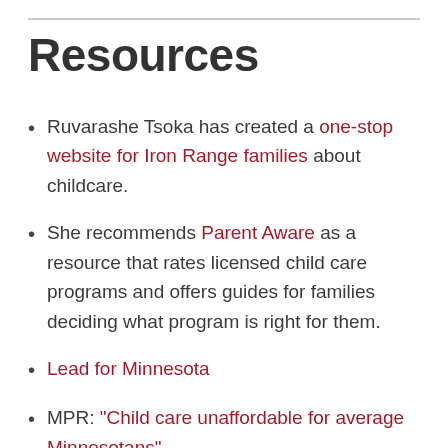Resources
Ruvarashe Tsoka has created a one-stop website for Iron Range families about childcare.
She recommends Parent Aware as a resource that rates licensed child care programs and offers guides for families deciding what program is right for them.
Lead for Minnesota
MPR: “Child care unaffordable for average Minnesotans”